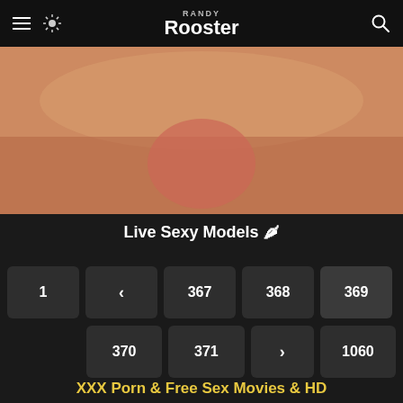Randy Rooster
[Figure (photo): Close-up adult content image]
Live Sexy Models 🌶
Pagination: 1, <, 367, 368, 369, 370, 371, >, 1060
XXX Porn & Free Sex Movies & HD